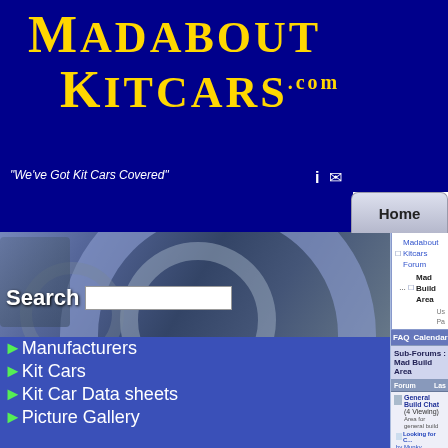[Figure (logo): Madabout Kitcars.com logo in gold text on dark blue background]
"We've Got Kit Cars Covered"
Home
[Figure (photo): Car wheel/spoke photograph used as sidebar background]
Search
Manufacturers
Kit Cars
Kit Car Data sheets
Picture Gallery
SVA Knowledgebase
Clubs & Communities
Build cost estimator
Kit cars for sale
Knowledge Base
Madabout Kitcars Forum
Mad Build Area
Us
Pa
FAQ    Calendar
Sub-Forums : Mad Build Area
| Forum | Las |
| --- | --- |
| General Build Chat (4 Viewing) Area for general build | Looking for C... by Munky |
Looking for C...
by Munky